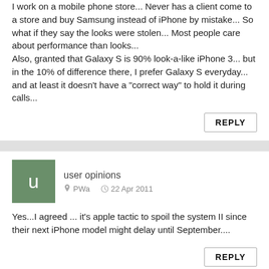I work on a mobile phone store... Never has a client come to a store and buy Samsung instead of iPhone by mistake... So what if they say the looks were stolen... Most people care about performance than looks...
Also, granted that Galaxy S is 90% look-a-like iPhone 3... but in the 10% of difference there, I prefer Galaxy S everyday... and at least it doesn't have a "correct way" to hold it during calls...
user opinions   PWa   22 Apr 2011
Yes...I agreed ... it's apple tactic to spoil the system II since their next iPhone model might delay until September....